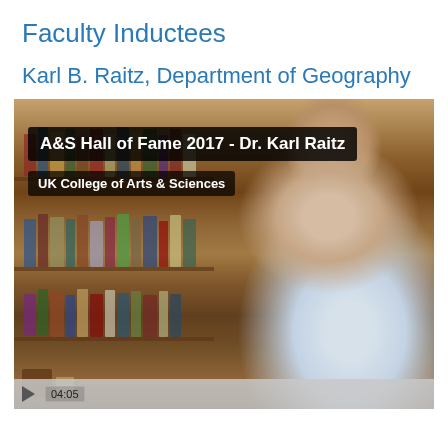Faculty Inductees
Karl B. Raitz, Department of Geography
[Figure (screenshot): Video thumbnail showing Dr. Karl Raitz seated in front of a bookshelf. Overlay text reads 'A&S Hall of Fame 2017 - Dr. Karl Raitz' and 'UK College of Arts & Sciences'. Video duration shown as 04:05 with a play button.]